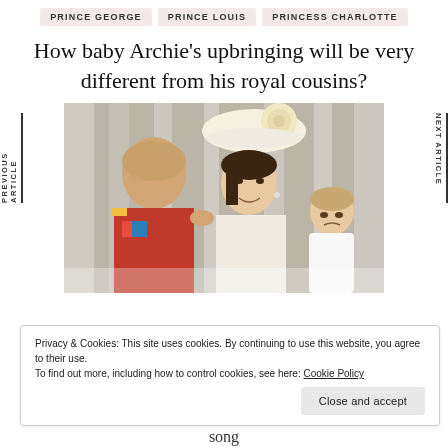PRINCE GEORGE   PRINCE LOUIS   PRINCESS CHARLOTTE
How baby Archie’s upbringing will be very different from his royal cousins?
[Figure (photo): A man in red military uniform, a woman in white dress and large cream floral hat, and a toddler boy in white, standing on a balcony — likely Prince William, Kate Middleton, and Prince Louis at Trooping the Colour.]
Privacy & Cookies: This site uses cookies. By continuing to use this website, you agree to their use. To find out more, including how to control cookies, see here: Cookie Policy
Close and accept
song